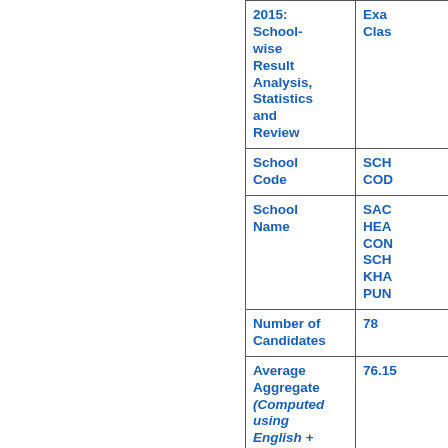| Label | Value |
| --- | --- |
| 2015: School-wise Result Analysis, Statistics and Review | Exam Class... |
| School Code | SCHOOL CODE... |
| School Name | SACRED HEAD CON SCH KHAN PUN... |
| Number of Candidates | 78 |
| Average Aggregate (Computed using English +... | 76.15 |